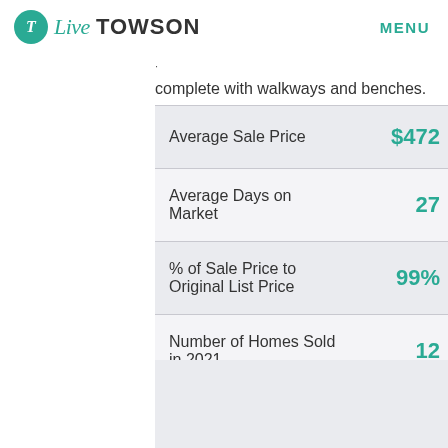Live TOWSON   MENU
complete with walkways and benches.
|  |  |
| --- | --- |
| Average Sale Price | $472 |
| Average Days on Market | 27 |
| % of Sale Price to Original List Price | 99% |
| Number of Homes Sold in 2021 | 12 |